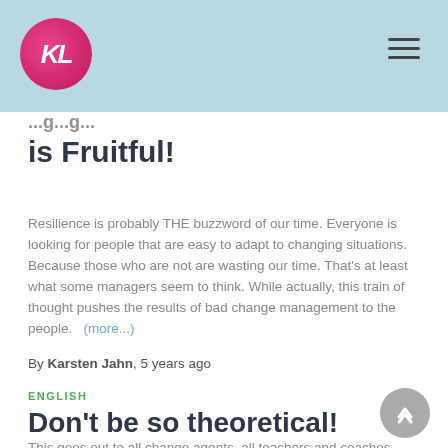Navigation bar with logo and menu
is Fruitful!
Resilience is probably THE buzzword of our time. Everyone is looking for people that are easy to adapt to changing situations. Because those who are not are wasting our time. That's at least what some managers seem to think. While actually, this train of thought pushes the results of bad change management to the people.  (more...)
By Karsten Jahn, 5 years ago
ENGLISH
Don't be so theoretical!
This goes out to all change agents, all teachers and coaches,